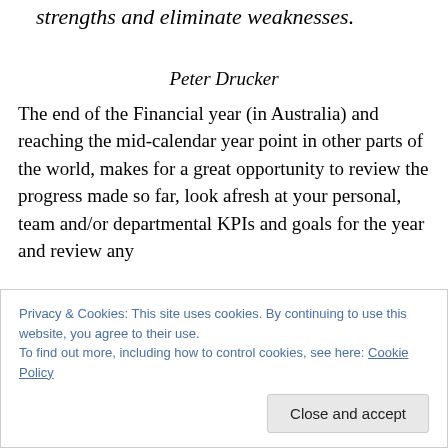strengths and eliminate weaknesses.
Peter Drucker
The end of the Financial year (in Australia) and reaching the mid-calendar year point in other parts of the world, makes for a great opportunity to review the progress made so far, look afresh at your personal, team and/or departmental KPIs and goals for the year and review any
Privacy & Cookies: This site uses cookies. By continuing to use this website, you agree to their use.
To find out more, including how to control cookies, see here: Cookie Policy